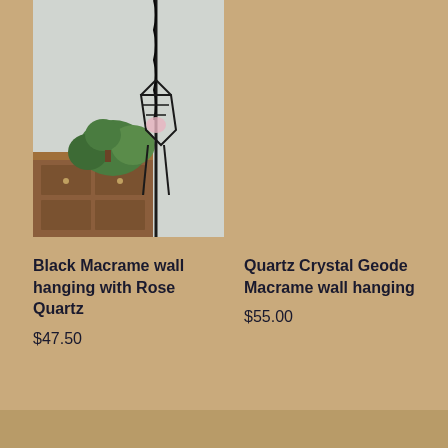[Figure (photo): Photo of a black macrame wall hanging with a dark cord and geometric basket shape, hanging over a wooden dresser with green plant, against a grey wall.]
Black Macrame wall hanging with Rose Quartz
$47.50
Quartz Crystal Geode Macrame wall hanging
$55.00